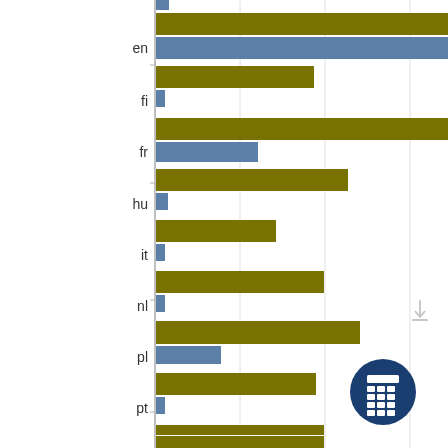[Figure (grouped-bar-chart): Language comparison chart]